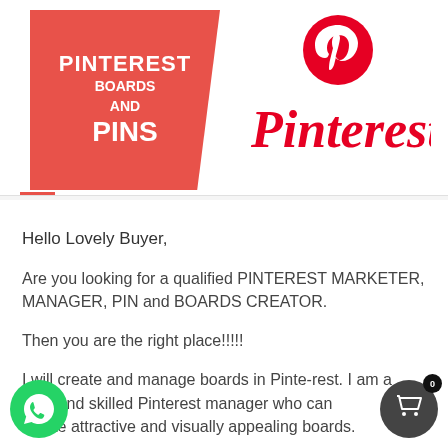[Figure (logo): Pinterest boards and pins promotional image with red banner showing 'PINTEREST BOARDS AND PINS' text on left, and Pinterest logo with cursive 'Pinterest' text on right]
Hello Lovely Buyer,
Are you looking for a qualified PINTEREST MARKETER, MANAGER, PIN and BOARDS CREATOR.
Then you are the right place!!!!!
I will create and manage boards in Pinte-rest. I am a [talen]nted and skilled Pinterest manager who can create attractive and visually appealing boards.